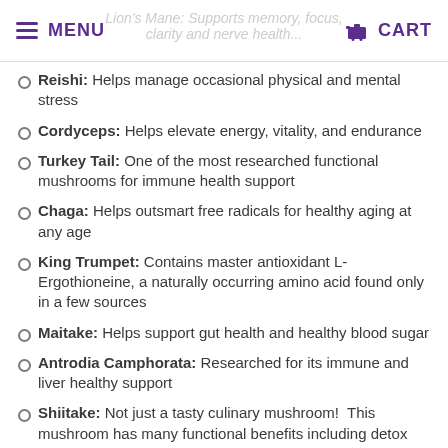MENU | CART
Reishi: Helps manage occasional physical and mental stress
Cordyceps: Helps elevate energy, vitality, and endurance
Turkey Tail: One of the most researched functional mushrooms for immune health support
Chaga: Helps outsmart free radicals for healthy aging at any age
King Trumpet: Contains master antioxidant L-Ergothioneine, a naturally occurring amino acid found only in a few sources
Maitake: Helps support gut health and healthy blood sugar
Antrodia Camphorata: Researched for its immune and liver healthy support
Shiitake: Not just a tasty culinary mushroom!  This mushroom has many functional benefits including detox support
Agaricus Blazei: Sometimes called the